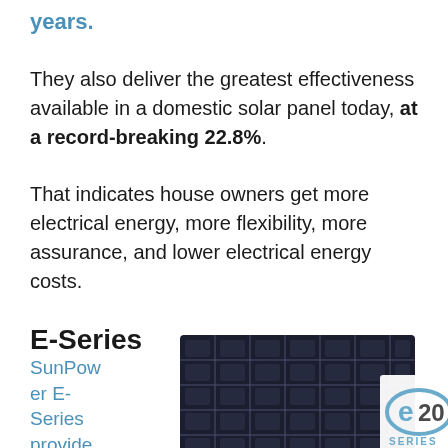years.
They also deliver the greatest effectiveness available in a domestic solar panel today, at a record-breaking 22.8%.
That indicates house owners get more electrical energy, more flexibility, more assurance, and lower electrical energy costs.
E-Series
SunPower E-Series provide
[Figure (photo): SunPower E-Series solar panel with E20 Series logo badge]